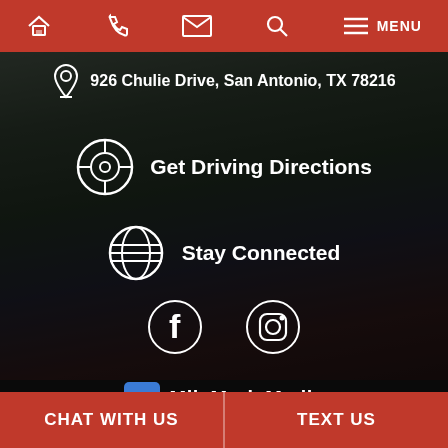MENU — navigation bar with home, phone, email, search, menu icons
926 Chulie Drive, San Antonio, TX 78216
Get Driving Directions
Stay Connected
[Figure (logo): Facebook and Instagram social media icons in white]
[Figure (logo): MileMark Media logo with blue badge icon and tagline 'Practice Growth Solutions']
© 2022 The Law Office of Israel Garcia. All Rights Reserved. This law firm website and legal marketing are managed by MileMark Media.
CHAT WITH US | TEXT US